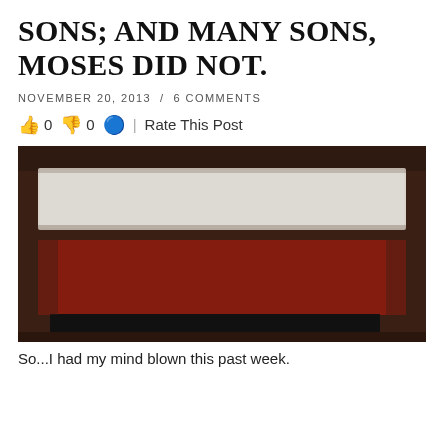SONS; AND MANY SONS, MOSES DID NOT.
NOVEMBER 20, 2013  /  6 COMMENTS
👍 0 👎 0 🔵 | Rate This Post
[Figure (photo): Abstract painting with horizontal bands: a white/cream rectangle at top, a large dark red/crimson rectangle in the middle, and a dark near-black band at the bottom, all on a dark brown background.]
So...I had my mind blown this past week.